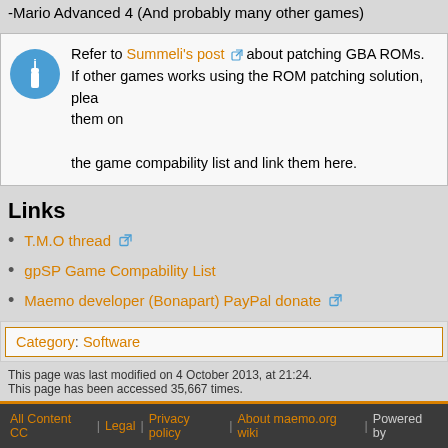-Mario Advanced 4 (And probably many other games)
Refer to Summeli's post about patching GBA ROMs. If other games works using the ROM patching solution, please add them on the game compability list and link them here.
Links
T.M.O thread
gpSP Game Compability List
Maemo developer (Bonapart) PayPal donate
Category: Software
This page was last modified on 4 October 2013, at 21:24. This page has been accessed 35,667 times.
All Content CC | Legal | Privacy policy | About maemo.org wiki | Powered by